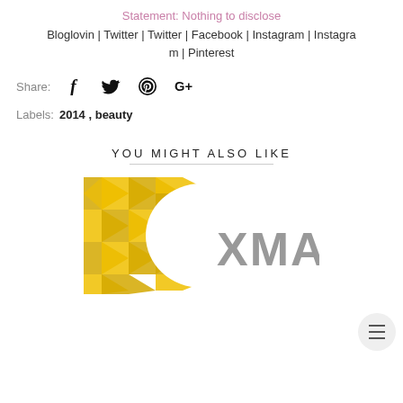Statement: Nothing to disclose
Bloglovin | Twitter | Twitter | Facebook | Instagram | Instagram | Pinterest
Share:
Labels:  2014 ,  beauty
YOU MIGHT ALSO LIKE
[Figure (photo): Preview image with gold glitter chevron pattern on left and grey XMAS text on right against white background]